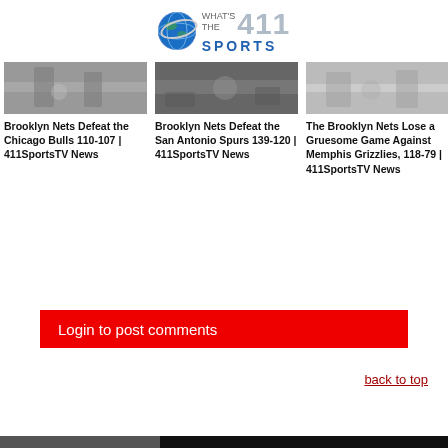[Figure (logo): What's The 411 Sports logo with globe icon]
[Figure (photo): Basketball game photo - Brooklyn Nets vs Chicago Bulls]
Brooklyn Nets Defeat the Chicago Bulls 110-107 | 411SportsTV News
[Figure (photo): Basketball game photo - Brooklyn Nets vs San Antonio Spurs]
Brooklyn Nets Defeat the San Antonio Spurs 139-120 | 411SportsTV News
[Figure (photo): Basketball game photo - Brooklyn Nets vs Memphis Grizzlies]
The Brooklyn Nets Lose a Gruesome Game Against Memphis Grizzlies, 118-79 | 411SportsTV News
Login to post comments
back to top